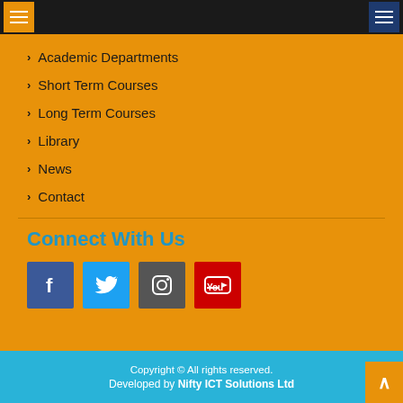> Academic Departments
> Short Term Courses
> Long Term Courses
> Library
> News
> Contact
Connect With Us
[Figure (other): Social media icons: Facebook, Twitter, Instagram, YouTube]
Copyright © All rights reserved. Developed by Nifty ICT Solutions Ltd